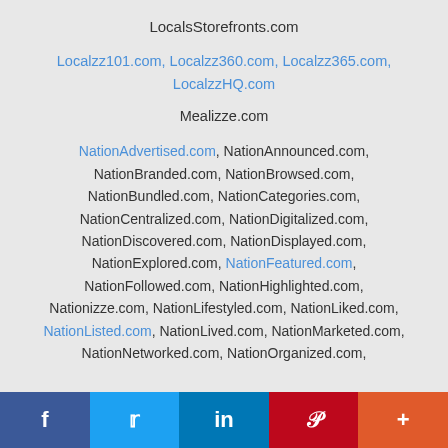LocalsStorefronts.com
Localzz101.com, Localzz360.com, Localzz365.com, LocalzzHQ.com
Mealizze.com
NationAdvertised.com, NationAnnounced.com, NationBranded.com, NationBrowsed.com, NationBundled.com, NationCategories.com, NationCentralized.com, NationDigitalized.com, NationDiscovered.com, NationDisplayed.com, NationExplored.com, NationFeatured.com, NationFollowed.com, NationHighlighted.com, Nationizze.com, NationLifestyled.com, NationLiked.com, NationListed.com, NationLived.com, NationMarketed.com, NationNetworked.com, NationOrganized.com,
f  t  in  P  +